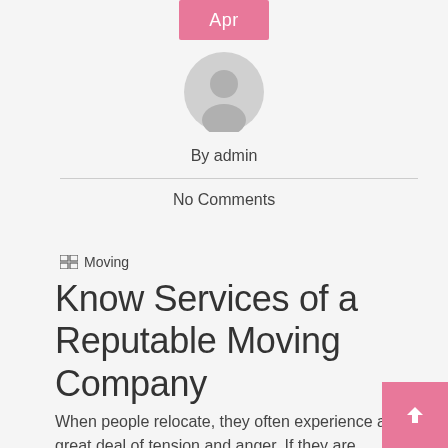Apr
[Figure (illustration): Circular gray avatar/user icon with head and shoulders silhouette]
By admin
No Comments
Moving
Know Services of a Reputable Moving Company
When people relocate, they often experience a great deal of tension and anger. If they are